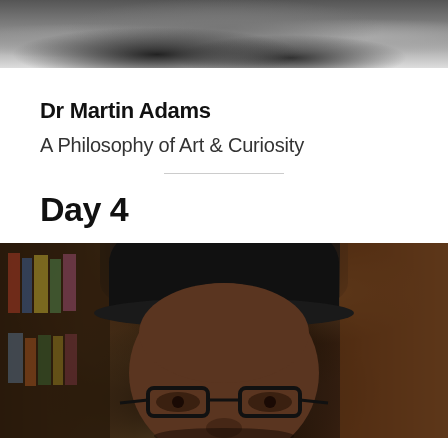[Figure (photo): Black and white photo of a person, cropped at top of page, partial view]
Dr Martin Adams
A Philosophy of Art & Curiosity
Day 4
[Figure (photo): Color photograph of a Black man wearing a black baseball cap and glasses, seated in front of bookshelves with wooden cabinet, looking at camera]